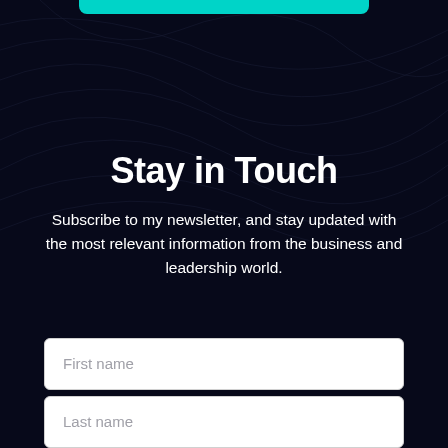[Figure (screenshot): Dark navy background with faint abstract diagonal wave/line patterns. Teal/cyan rounded button visible at very top center.]
Stay in Touch
Subscribe to my newsletter, and stay updated with the most relevant information from the business and leadership world.
First name
Last name